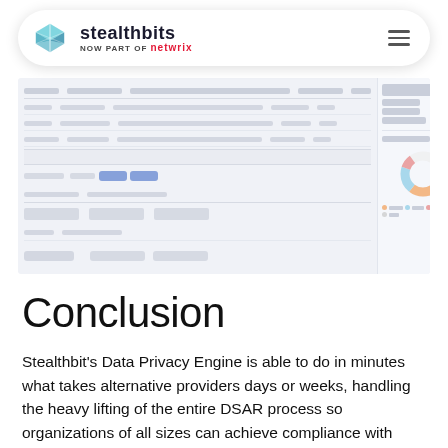stealthbits NOW PART OF netwrix
[Figure (screenshot): Blurred screenshot of the Stealthbits Data Privacy Engine dashboard interface showing a table with records and a donut chart on the right side.]
Conclusion
Stealthbit's Data Privacy Engine is able to do in minutes what takes alternative providers days or weeks, handling the heavy lifting of the entire DSAR process so organizations of all sizes can achieve compliance with virtually